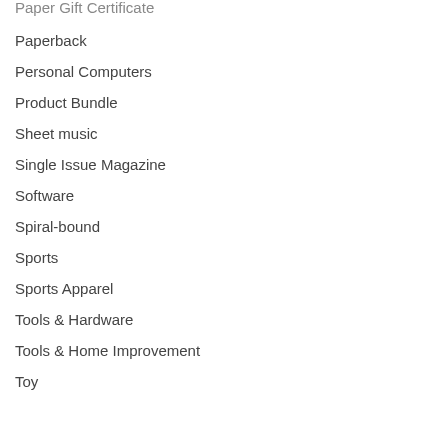Paper Gift Certificate
Paperback
Personal Computers
Product Bundle
Sheet music
Single Issue Magazine
Software
Spiral-bound
Sports
Sports Apparel
Tools & Hardware
Tools & Home Improvement
Toy